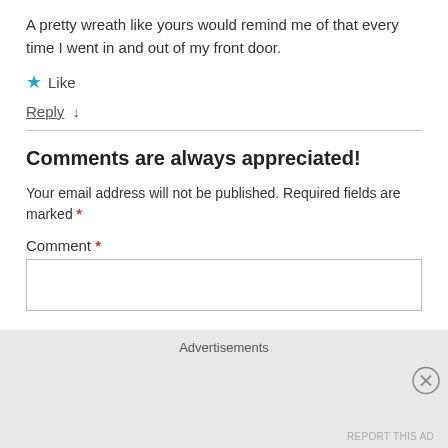A pretty wreath like yours would remind me of that every time I went in and out of my front door.
★ Like
Reply ↓
Comments are always appreciated!
Your email address will not be published. Required fields are marked *
Comment *
Advertisements